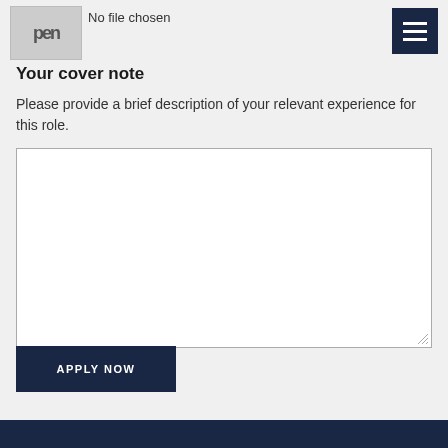[Figure (logo): Partially visible logo with letters resembling 'pen' or similar, shown as a grey box with dark text]
No file chosen
[Figure (other): Dark navy hamburger menu button with three white horizontal bars]
Your cover note
Please provide a brief description of your relevant experience for this role.
[Figure (other): Empty text area input box with resize handle at bottom right]
APPLY NOW